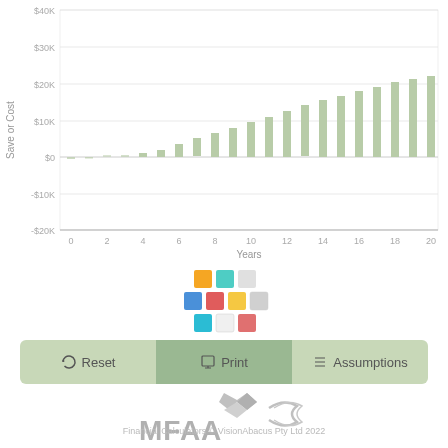[Figure (bar-chart): ]
[Figure (infographic): Legend tiles: colored squares in orange, teal, light gray, blue, red, yellow, cyan, white, salmon arranged in a 3x3 grid]
[Figure (infographic): Three buttons: Reset, Print, Assumptions in muted green tones]
[Figure (logo): MFAA logo in gray with stylized M and flag/wave symbol]
Financial Calculators © VisionAbacus Pty Ltd 2022